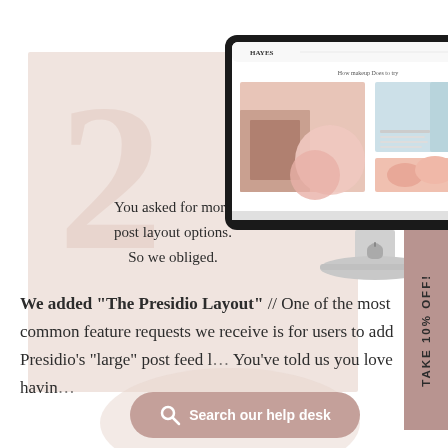[Figure (screenshot): Pink card with large watermark number 2 and text overlay, with iMac screenshot of Hayes website, and a mauve TAKE 10% OFF! vertical tab on the right side]
You asked for more post layout options. So we obliged.
We added “The Presidio Layout” // One of the most common feature requests we receive is for users to add Presidio’s “large” post feed l… You’ve told us you love havin…
[Figure (other): Search our help desk button with mauve rounded rectangle and magnifying glass icon]